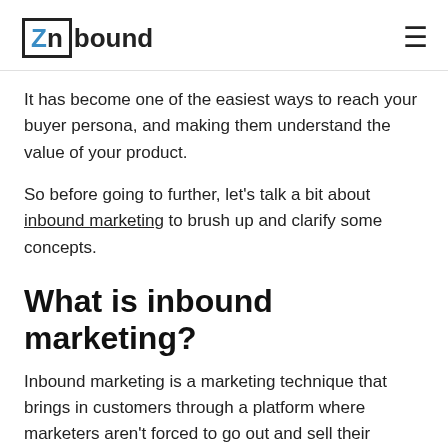Znbound
It has become one of the easiest ways to reach your buyer persona, and making them understand the value of your product.
So before going to further, let's talk a bit about inbound marketing to brush up and clarify some concepts.
What is inbound marketing?
Inbound marketing is a marketing technique that brings in customers through a platform where marketers aren't forced to go out and sell their